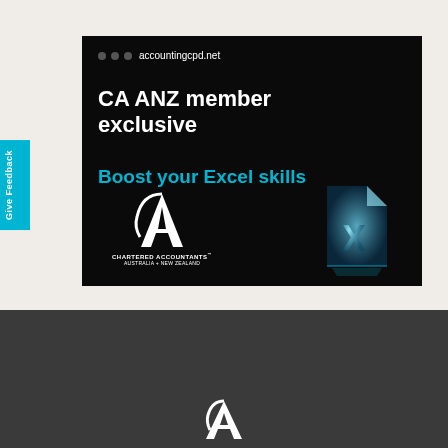[Figure (illustration): Advertisement banner on black background: accountingcpd.net logo with three dots, headline 'CA ANZ member exclusive', subheadline 'Boost your Excel skills' in cyan, CA ANZ Chartered Accountants Australia + New Zealand logo bottom left, glowing crystal Excel file icon bottom right]
Give Feedback
[Figure (logo): Chartered Accountants ANZ logo (white CA monogram) in dark grey footer section]